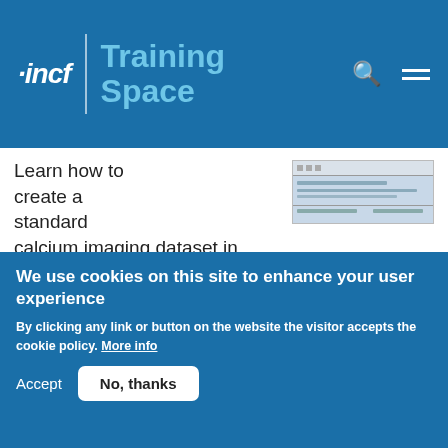INCF Training Space
Learn how to create a standard calcium imaging dataset in NWB using Python
Difficulty level: Intermediate
Duration: 31:04
Speaker: : Ryan Ly
[Figure (screenshot): Screenshot of a Python IDE or Jupyter notebook interface]
Intracellular electrophysiology basics in NWB
We use cookies on this site to enhance your user experience
By clicking any link or button on the website the visitor accepts the cookie policy. More info
Accept   No, thanks